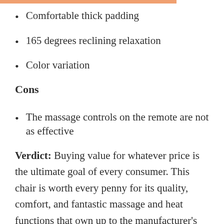Comfortable thick padding
165 degrees reclining relaxation
Color variation
Cons
The massage controls on the remote are not as effective
Verdict: Buying value for whatever price is the ultimate goal of every consumer. This chair is worth every penny for its quality, comfort, and fantastic massage and heat functions that own up to the manufacturer’s claims. Don’t let this choice pass